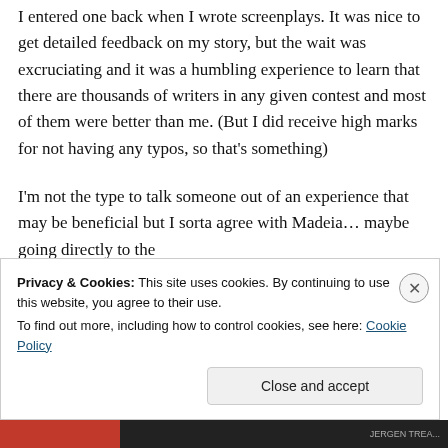I entered one back when I wrote screenplays. It was nice to get detailed feedback on my story, but the wait was excruciating and it was a humbling experience to learn that there are thousands of writers in any given contest and most of them were better than me. (But I did receive high marks for not having any typos, so that's something)

I'm not the type to talk someone out of an experience that may be beneficial but I sorta agree with Madeia… maybe going directly to the
Privacy & Cookies: This site uses cookies. By continuing to use this website, you agree to their use.
To find out more, including how to control cookies, see here: Cookie Policy